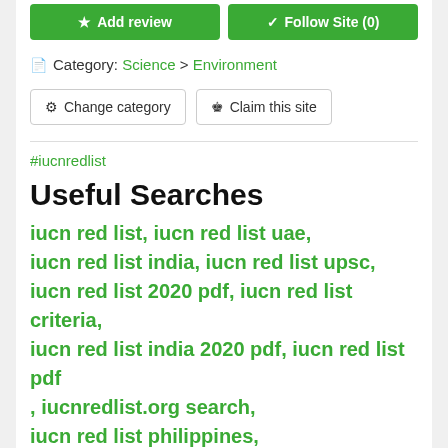Category: Science > Environment
Change category | Claim this site
#iucnredlist
Useful Searches
iucn red list, iucn red list uae, iucn red list india, iucn red list upsc, iucn red list 2020 pdf, iucn red list criteria, iucn red list india 2020 pdf, iucn red list pdf, iucnredlist.org search, iucn red list philippines,
Domain summary
Safety   High trust score